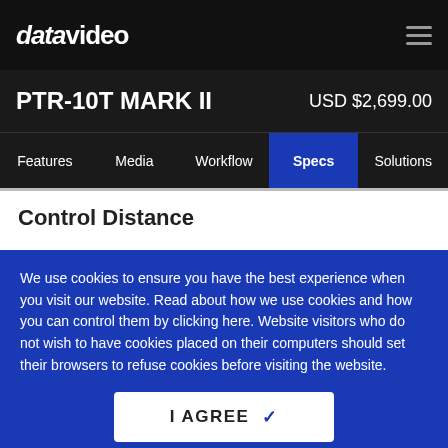datavideo
PTR-10T MARK II   USD $2,699.00
Features   Media   Workflow   Specs   Solutions
Control Distance
We use cookies to ensure you have the best experience when you visit our website. Read about how we use cookies and how you can control them by clicking here. Website visitors who do not wish to have cookies placed on their computers should set their browsers to refuse cookies before visiting the website.
I AGREE ✓